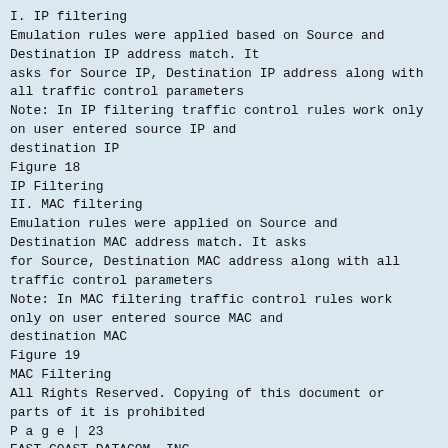I. IP filtering
Emulation rules were applied based on Source and Destination IP address match. It asks for Source IP, Destination IP address along with all traffic control parameters
Note: In IP filtering traffic control rules work only on user entered source IP and destination IP
Figure 18
IP Filtering
II. MAC filtering
Emulation rules were applied on Source and Destination MAC address match. It asks for Source, Destination MAC address along with all traffic control parameters
Note: In MAC filtering traffic control rules work only on user entered source MAC and destination MAC
Figure 19
MAC Filtering
All Rights Reserved. Copying of this document or parts of it is prohibited
P a g e | 23
EAST COAST DATACOM, INC
www.ecdata.com
EDS-10G User Manual
III.
Port filtering
Emulation rules were applied based on Source and Destination port number match. It asks source port, destination port address along with all traffic control parameters
Port numbers range from 1024 - 65535